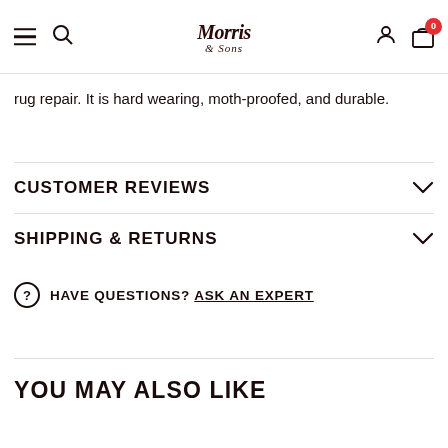Morris & Sons — navigation bar with hamburger menu, search, logo, account, and cart (0)
rug repair. It is hard wearing, moth-proofed, and durable.
CUSTOMER REVIEWS
SHIPPING & RETURNS
HAVE QUESTIONS? ASK AN EXPERT
YOU MAY ALSO LIKE